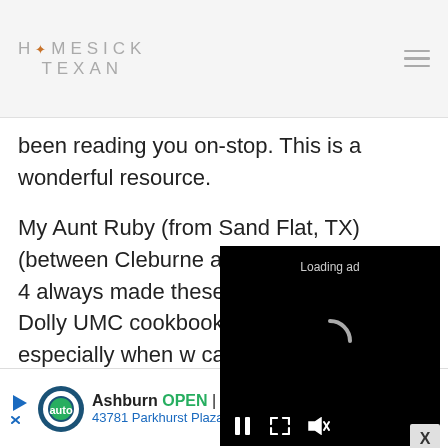HOMESICK TEXAN
been reading you on-stop. This is a wonderful resource.
My Aunt Ruby (from Sand Flat, TX) (between Cleburne and Grandview on FM 4 always made these. The Hunt's Hello Dolly UMC cookbook a in 1997, but we s especially when w cake.
[Figure (screenshot): Video ad overlay showing 'Loading ad' with spinner and playback controls (pause, fullscreen, mute) on black background]
[Figure (infographic): Bottom advertisement bar: Ashburn auto service, OPEN 7:30AM-6PM, 43781 Parkhurst Plaza, Ashburn, with navigation arrow icon]